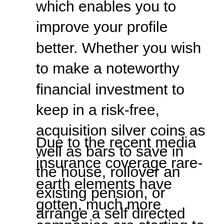which enables you to improve your profile better. Whether you wish to make a noteworthy financial investment to keep in a risk-free, acquisition silver coins as well as bars to save in the house, rollover an existing pension, or arrange a self directed IRA (or gold IRA), gold investment firm can lead you along the road.
Due to the recent media insurance coverage rare-earth elements have gotten, much more companies are starting to provide services. Obviously, with raised competitors comes better offers for financiers. Numerous individuals locate it hard to choose a gold investment company, from the huge numbers of companies offered. Unskilled investors can occasionally have a go at this